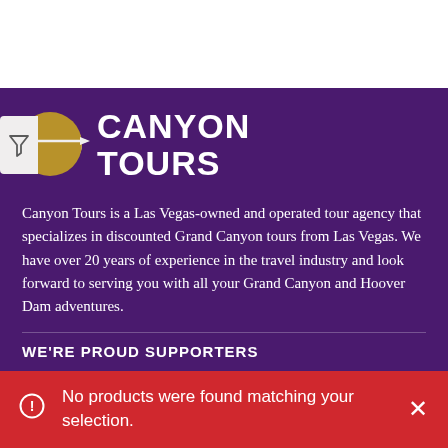[Figure (logo): Canyon Tours logo with filter/funnel icon on gold circle and white circle, with company name CANYON TOURS in bold white capital letters]
Canyon Tours is a Las Vegas-owned and operated tour agency that specializes in discounted Grand Canyon tours from Las Vegas. We have over 20 years of experience in the travel industry and look forward to serving you with all your Grand Canyon and Hoover Dam adventures.
WE'RE PROUD SUPPORTERS
No products were found matching your selection.